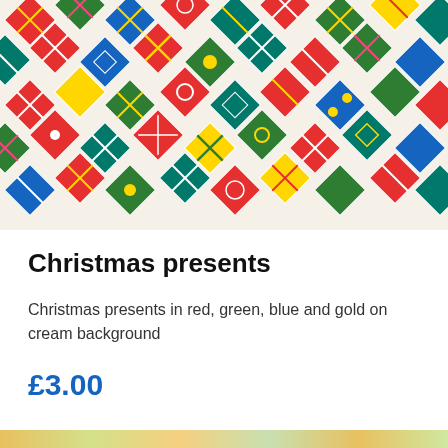[Figure (photo): Pattern of colorful Christmas present gift boxes arranged in a diagonal diamond layout on a cream/white background. Gifts are in red, green, blue, teal, and gold colors with various patterns and ribbons.]
Christmas presents
Christmas presents in red, green, blue and gold on cream background
£3.00
[Figure (photo): Partial view of another product image at the bottom of the page — colorful Christmas themed image, partially visible.]